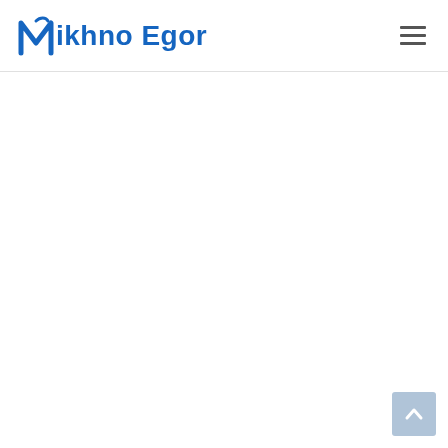Mikhno Egor
[Figure (other): Scroll to top button with upward arrow icon, light blue background in bottom-right corner]